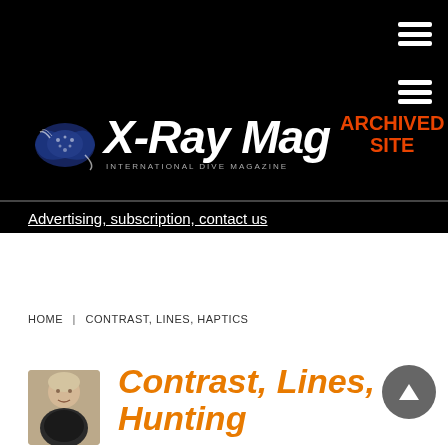[Figure (logo): X-Ray Mag International Dive Magazine logo with manta ray icon and ARCHIVED SITE badge in orange]
Advertising, subscription, contact us
HOME | CONTRAST, LINES, HAPTICS
[Figure (photo): Small headshot of a person (author photo)]
Contrast, Lines, Hunting